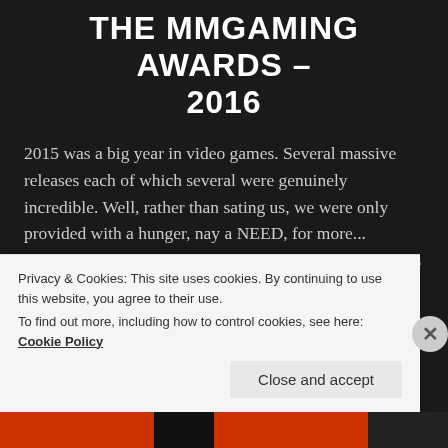THE MMGAMING AWARDS – 2016
2015 was a big year in video games. Several massive releases each of which several were genuinely incredible. Well, rather than sating us, we were only provided with a hunger, nay a NEED, for more... Unfortunately though it seems that the gaming industry's recovery period is at least a year because 2016 was mostly, let's face [...]
Read More
Privacy & Cookies: This site uses cookies. By continuing to use this website, you agree to their use.
To find out more, including how to control cookies, see here: Cookie Policy
Close and accept